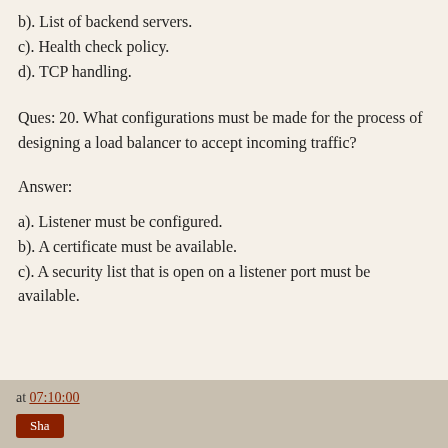b). List of backend servers.
c). Health check policy.
d). TCP handling.
Ques: 20. What configurations must be made for the process of designing a load balancer to accept incoming traffic?
Answer:
a). Listener must be configured.
b). A certificate must be available.
c). A security list that is open on a listener port must be available.
at 07:10:00